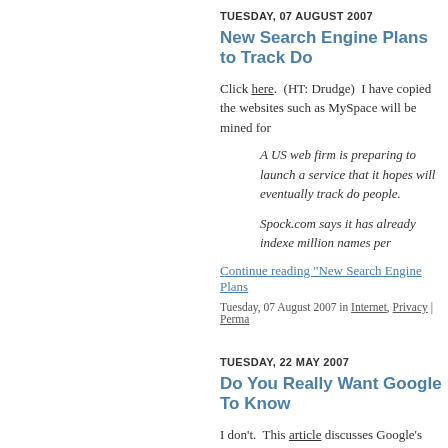TUESDAY, 07 AUGUST 2007
New Search Engine Plans to Track Do
Click here.  (HT: Drudge)  I have copied the websites such as MySpace will be mined for
A US web firm is preparing to launch a service that it hopes will eventually track do people.
Spock.com says it has already indexed million names per
Continue reading "New Search Engine Plans
Tuesday, 07 August 2007 in Internet, Privacy | Perma
TUESDAY, 22 MAY 2007
Do You Really Want Google To Know
I don't.  This article discusses Google's goals
Tuesday, 22 May 2007 in Internet, Privacy | Permalin